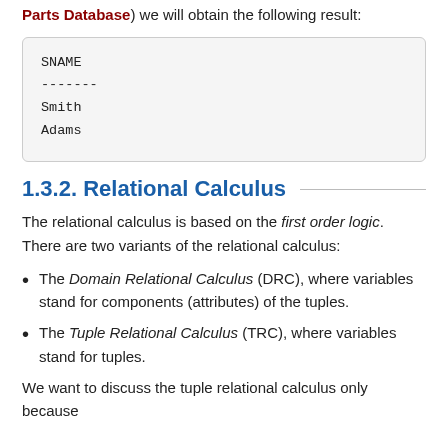Parts Database) we will obtain the following result:
| SNAME |
| --- |
| ------- |
| Smith |
| Adams |
1.3.2. Relational Calculus
The relational calculus is based on the first order logic. There are two variants of the relational calculus:
The Domain Relational Calculus (DRC), where variables stand for components (attributes) of the tuples.
The Tuple Relational Calculus (TRC), where variables stand for tuples.
We want to discuss the tuple relational calculus only because